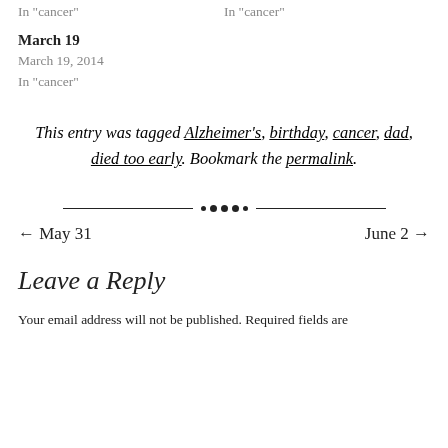In "cancer"
In "cancer"
March 19
March 19, 2014
In "cancer"
This entry was tagged Alzheimer's, birthday, cancer, dad, died too early. Bookmark the permalink.
[Figure (illustration): Decorative divider with horizontal lines and dots in the center]
← May 31
June 2 →
Leave a Reply
Your email address will not be published. Required fields are